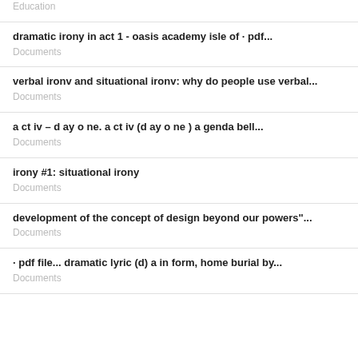Education
dramatic irony in act 1 - oasis academy isle of · pdf...
Documents
verbal ironv and situational ironv: why do people use verbal...
Documents
a ct iv – d ay o ne. a ct iv (d ay o ne ) a genda bell...
Documents
irony #1: situational irony
Documents
development of the concept of design beyond our powers"...
Documents
· pdf file... dramatic lyric (d) a in form, home burial by...
Documents